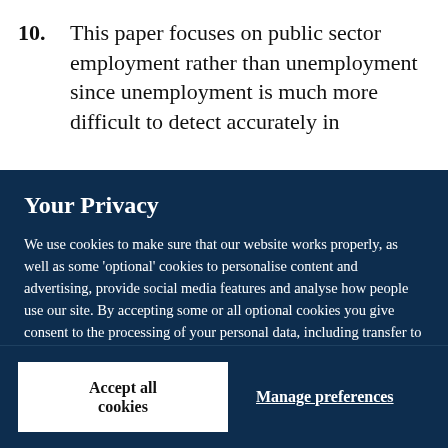10. This paper focuses on public sector employment rather than unemployment since unemployment is much more difficult to detect accurately in
Your Privacy
We use cookies to make sure that our website works properly, as well as some 'optional' cookies to personalise content and advertising, provide social media features and analyse how people use our site. By accepting some or all optional cookies you give consent to the processing of your personal data, including transfer to third parties, some in countries outside of the European Economic Area that do not offer the same data protection standards as the country where you live. You can decide which optional cookies to accept by clicking on 'Manage Settings', where you can also find more information about how your personal data is processed. Further information can be found in our privacy policy.
Accept all cookies
Manage preferences